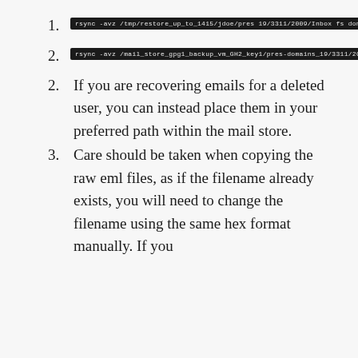decision. The path in the mail store will match the backup, such as below for a user INBOX:
1. [code block 1]
2. [code block 2]
2. If you are recovering emails for a deleted user, you can instead place them in your preferred path within the mail store.
3. Care should be taken when copying the raw eml files, as if the filename already exists, you will need to change the filename using the same hex format manually. If you